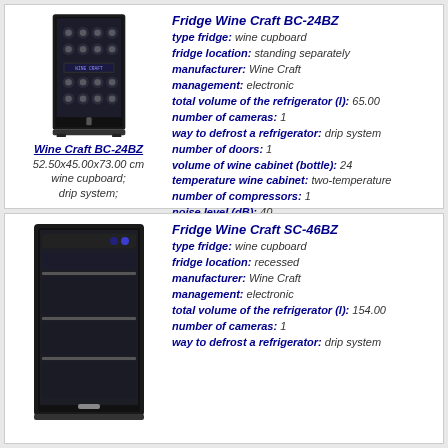[Figure (photo): Wine Craft BC-24BZ wine refrigerator, black, front view with wine bottles visible]
Wine Craft BC-24BZ
52.50x45.00x73.00 cm
wine cupboard; drip system;
Fridge Wine Craft BC-24BZ
type fridge: wine cupboard
fridge location: standing separately
manufacturer: Wine Craft
management: electronic
total volume of the refrigerator (l): 65.00
number of cameras: 1
way to defrost a refrigerator: drip system
number of doors: 1
volume of wine cabinet (bottle): 24
temperature wine cabinet: two-temperature
number of compressors: 1
noise level (dB): 40
power consumption (kWh/year): 438.00
additional options: temperature display
width (cm): 45.00
height (cm): 73.00
depth (cm): 52.50
weight (kg): 23.00
ability to change the position of the door
more information
[Figure (photo): Wine Craft SC-46BZ wine refrigerator, black, front view]
Fridge Wine Craft SC-46BZ
type fridge: wine cupboard
fridge location: recessed
manufacturer: Wine Craft
management: electronic
total volume of the refrigerator (l): 154.00
number of cameras: 1
way to defrost a refrigerator: drip system